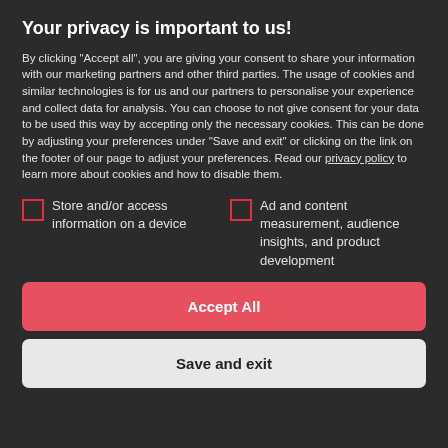Your privacy is important to us!
By clicking "Accept all", you are giving your consent to share your information with our marketing partners and other third parties. The usage of cookies and similar technologies is for us and our partners to personalise your experience and collect data for analysis. You can choose to not give consent for your data to be used this way by accepting only the necessary cookies. This can be done by adjusting your preferences under "Save and exit" or clicking on the link on the footer of our page to adjust your preferences. Read our privacy policy to learn more about cookies and how to disable them.
Store and/or access information on a device
Ad and content measurement, audience insights, and product development
Accept All
Save and exit